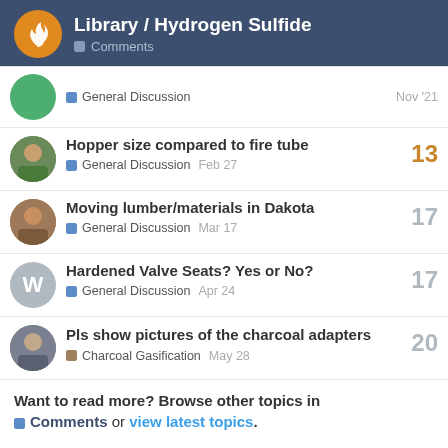Library / Hydrogen Sulfide — Comments
General Discussion — Nov '21
Hopper size compared to fire tube — General Discussion — Feb 27 — 13 replies
Moving lumber/materials in Dakota — General Discussion — Mar 17 — 17 replies
Hardened Valve Seats? Yes or No? — General Discussion — Apr 24 — 17 replies
Pls show pictures of the charcoal adapters — Charcoal Gasification — May 28 — 20 replies
Want to read more? Browse other topics in Comments or view latest topics.